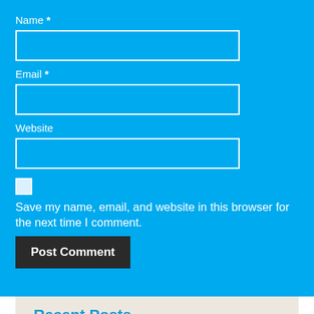Name *
Email *
Website
Save my name, email, and website in this browser for the next time I comment.
Post Comment
Recent Posts
List Of Puppies Coloring Pictures Ideas
Review Of Dogs With Pointy Snouts...